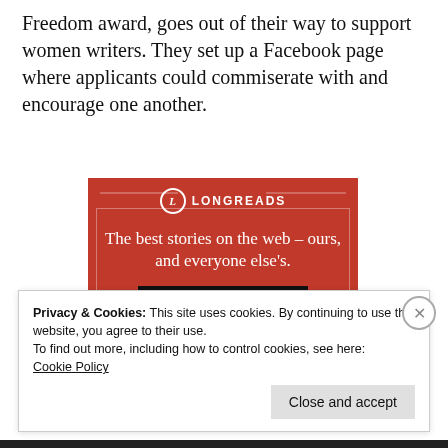Freedom award, goes out of their way to support women writers. They set up a Facebook page where applicants could commiserate with and encourage one another.
[Figure (illustration): Longreads advertisement banner with red background. Circular logo with 'L' at top center, flanked by 'LONGREADS' in white uppercase letters. Tagline reads 'The best stories on the web – ours, and everyone else's.' with a dark 'Start reading' button at the bottom.]
Privacy & Cookies: This site uses cookies. By continuing to use this website, you agree to their use.
To find out more, including how to control cookies, see here:
Cookie Policy
Close and accept